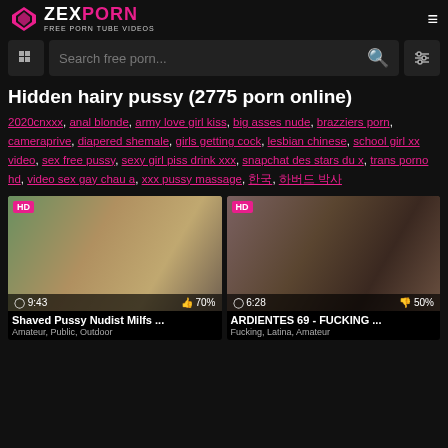ZEXPORN FREE PORN TUBE VIDEOS
Hidden hairy pussy (2775 porn online)
2020cnxxx, anal blonde, army love girl kiss, big asses nude, brazziers porn, cameraprive, diapered shemale, girls getting cock, lesbian chinese, school girl xx video, sex free pussy, sexy girl piss drink xxx, snapchat des stars du x, trans porno hd, video sex gay chau a, xxx pussy massage, 한국, 하버드 박사
[Figure (screenshot): Video thumbnail: two nude women on beach, HD badge, duration 9:43, rating 70%]
Shaved Pussy Nudist Milfs ...
Amateur, Public, Outdoor
[Figure (screenshot): Video thumbnail: close-up explicit content, HD badge, duration 6:28, rating 50%]
ARDIENTES 69 - FUCKING ...
Fucking, Latina, Amateur